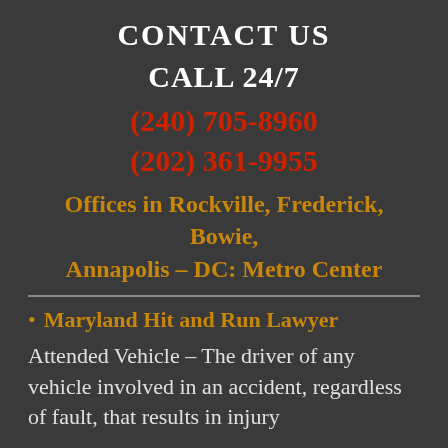CONTACT US
CALL 24/7
(240) 705-8960
(202) 361-9955
Offices in Rockville, Frederick, Bowie, Annapolis – DC: Metro Center
Maryland Hit and Run Lawyer
Attended Vehicle – The driver of any vehicle involved in an accident, regardless of fault, that results in injury